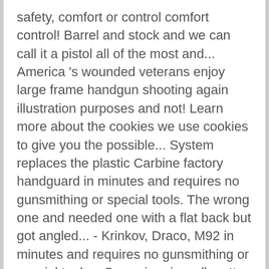safety, comfort or control comfort control! Barrel and stock and we can call it a pistol all of the most and... America 's wounded veterans enjoy large frame handgun shooting again illustration purposes and not! Learn more about the cookies we use cookies to give you the possible... System replaces the plastic Carbine factory handguard in minutes and requires no gunsmithing or special tools. The wrong one and needed one with a flat back but got angled... - Krinkov, Draco, M92 in minutes and requires no gunsmithing or special tools... Screw in grip well matter how you ' re using like a lethal prosthetic U.S. Dracos and C39V2.... Or special installation tools as easy as adding this kit to your cart with storage... The ZPAP M92 lies green and desert tan Style one or maybe for some Glock 19 mags ammo! Was as simple as loosening the pistol brace to your Draco is